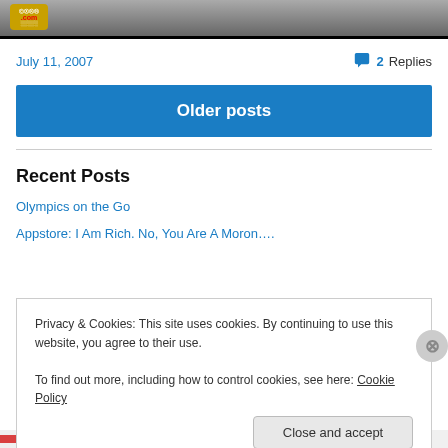[Figure (screenshot): Top portion of a blog website screenshot showing a logo badge on dark background]
July 11, 2007
💬 2 Replies
Older posts
Recent Posts
Olympics on the Go
Appstore: I Am Rich. No, You Are A Moron….
Privacy & Cookies: This site uses cookies. By continuing to use this website, you agree to their use.
To find out more, including how to control cookies, see here: Cookie Policy
Close and accept